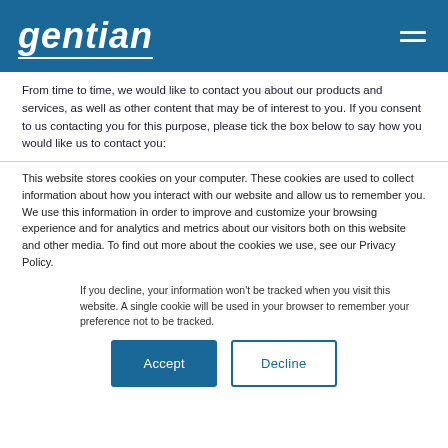gentian
From time to time, we would like to contact you about our products and services, as well as other content that may be of interest to you. If you consent to us contacting you for this purpose, please tick the box below to say how you would like us to contact you:
This website stores cookies on your computer. These cookies are used to collect information about how you interact with our website and allow us to remember you. We use this information in order to improve and customize your browsing experience and for analytics and metrics about our visitors both on this website and other media. To find out more about the cookies we use, see our Privacy Policy.
If you decline, your information won’t be tracked when you visit this website. A single cookie will be used in your browser to remember your preference not to be tracked.